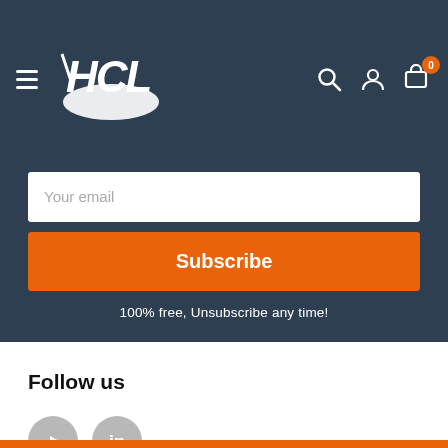HCL — navigation header with logo, hamburger menu, search, account, and cart (0 items)
Your email
Subscribe
100% free, Unsubscribe any time!
Follow us
[Figure (illustration): YouTube and LinkedIn social media icon circles in gray]
Orange footer bar